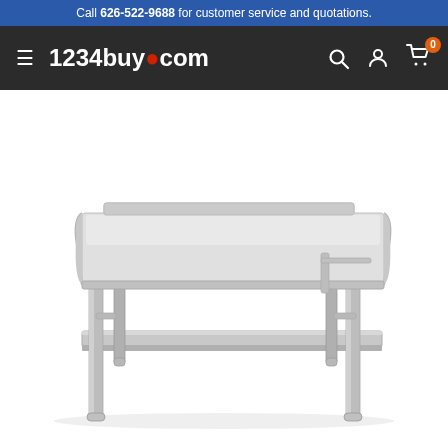Call 626-522-9688 for customer service and quotations.
[Figure (logo): 1234buy.com navigation bar with hamburger menu, logo, search icon, account icon, and cart icon with badge showing 0]
[Figure (photo): Stainless steel commercial equipment stand with a raised-edge top shelf and lower undershelf, four legs with adjustable feet, silver/brushed metal finish, on white background]